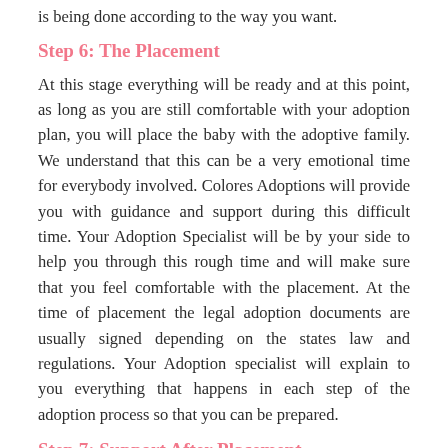is being done according to the way you want.
Step 6: The Placement
At this stage everything will be ready and at this point, as long as you are still comfortable with your adoption plan, you will place the baby with the adoptive family. We understand that this can be a very emotional time for everybody involved. Colores Adoptions will provide you with guidance and support during this difficult time. Your Adoption Specialist will be by your side to help you through this rough time and will make sure that you feel comfortable with the placement. At the time of placement the legal adoption documents are usually signed depending on the states law and regulations. Your Adoption specialist will explain to you everything that happens in each step of the adoption process so that you can be prepared.
Step 7: Support After Placement